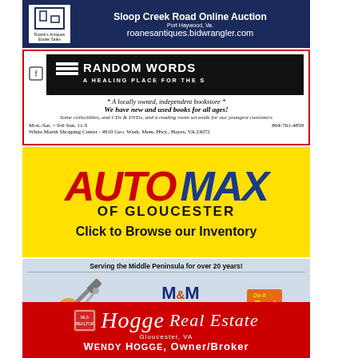[Figure (advertisement): Sloop Creek Road Online Auction — Roane's Antiques Estate Sales, Port Haywood, Va. roanesantiques.bidwrangler.com, navy blue background]
[Figure (advertisement): Random Words — A Healing Place For The Soul. A locally owned, independent bookstore. We have new and used books for all ages! Mon.-Sat. ~ 9-6 Sun. 11-5, 804-761-4859, White Marsh Shopping Center - 4910 Geo. Wash. Mem. Hwy., Hayes, VA 23072]
[Figure (advertisement): AUTO MAX OF GLOUCESTER — Click to Browse our Inventory. Yellow background, red AUTO, blue MAX.]
[Figure (advertisement): M&M Building Supply — Do It Best. Serving the Middle Peninsula for over 20 years! Hartfield 776-7777, Mathews 725-7647, Port Haywood 725-7156]
[Figure (advertisement): Hogge Real Estate, Gloucester, VA — Wendy Hogge, Owner/Broker. Red background, white italic script.]